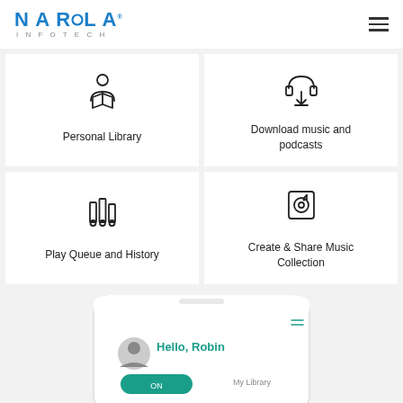NAROLA INFOTECH
[Figure (screenshot): App feature card: person reading a book icon with label 'Personal Library']
[Figure (screenshot): App feature card: headphones download icon with label 'Download music and podcasts']
[Figure (screenshot): App feature card: playlist/queue icon with label 'Play Queue and History']
[Figure (screenshot): App feature card: music album icon with label 'Create & Share Music Collection']
[Figure (screenshot): Mobile app mockup showing 'Hello, Robin' greeting screen with user avatar and 'My Library' section]